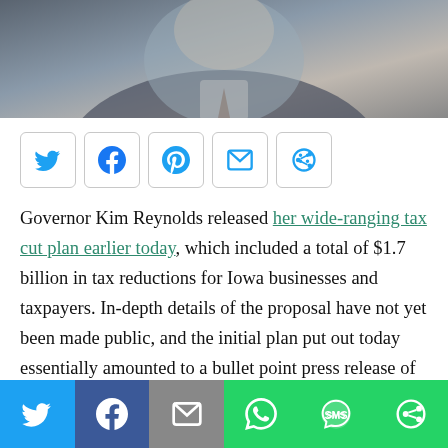[Figure (photo): Photo of Governor Kim Reynolds at top of page, partially cropped showing a person in a suit]
[Figure (infographic): Row of social share buttons: Twitter, Facebook, Pinterest, Email, and a circular share icon, each in a rounded square border]
Governor Kim Reynolds released her wide-ranging tax cut plan earlier today, which included a total of $1.7 billion in tax reductions for Iowa businesses and taxpayers. In-depth details of the proposal have not yet been made public, and the initial plan put out today essentially amounted to a bullet point press release of all the potential positive aspects of the bill.
[Figure (infographic): Bottom social sharing bar with colored buttons: Twitter (light blue), Facebook (dark blue), Email (grey), WhatsApp (green), SMS (green), Share (green)]